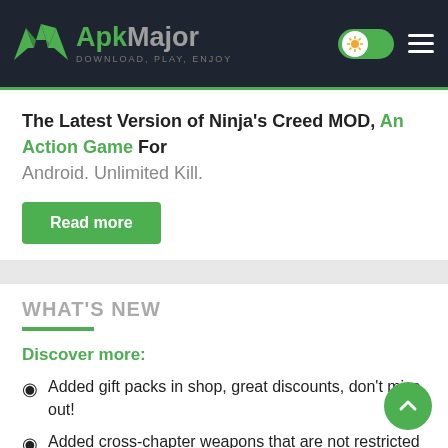ApkMajor — DOWNLOAD, PLAY, ENJOY
The Latest Version of Ninja's Creed MOD, An Action Game For Android. Unlimited Kill.
Read more
WHAT'S NEW
Discover more:
Added gift packs in shop, great discounts, don't miss out!
Added cross-chapter weapons that are not restricted by chapters, enrich your weapon arsenal now!
Optimized shop UI, the shop is more concise and beautiful!